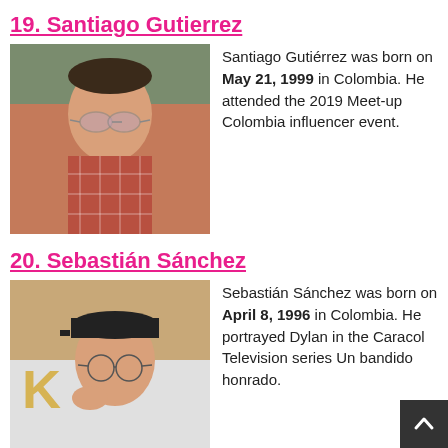19. Santiago Gutierrez
[Figure (photo): Young man with sunglasses and a plaid shirt, outdoors with greenery in background.]
Santiago Gutiérrez was born on May 21, 1999 in Colombia. He attended the 2019 Meet-up Colombia influencer event.
20. Sebastián Sánchez
[Figure (photo): Young man wearing a black cap and round glasses, with a white shirt.]
Sebastián Sánchez was born on April 8, 1996 in Colombia. He portrayed Dylan in the Caracol Television series Un bandido honrado.